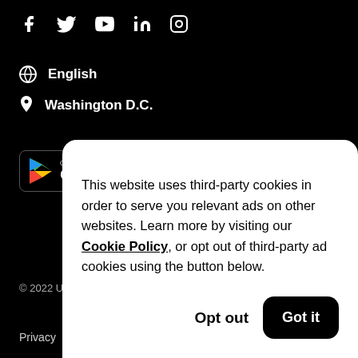[Figure (illustration): Social media icons row: Facebook, Twitter, YouTube, LinkedIn, Instagram in white on black background]
English
Washington D.C.
[Figure (illustration): Google Play store button showing play triangle logo and 'GET IT ON Google' text]
© 2022 Uber Te
Privacy
This website uses third-party cookies in order to serve you relevant ads on other websites. Learn more by visiting our Cookie Policy, or opt out of third-party ad cookies using the button below.
Opt out
Got it